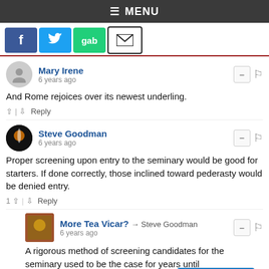≡ MENU
[Figure (other): Social share buttons: Facebook, Twitter, Gab, Email]
Mary Irene
6 years ago
And Rome rejoices over its newest underling.
Steve Goodman
6 years ago
Proper screening upon entry to the seminary would be good for starters. If done correctly, those inclined toward pederasty would be denied entry.
More Tea Vicar? → Steve Goodman
6 years ago
A rigorous method of screening candidates for the seminary used to be the case for years until it... (through a case of false mercy). It must be bro... (ulsorily and lead by Benedict. To t...